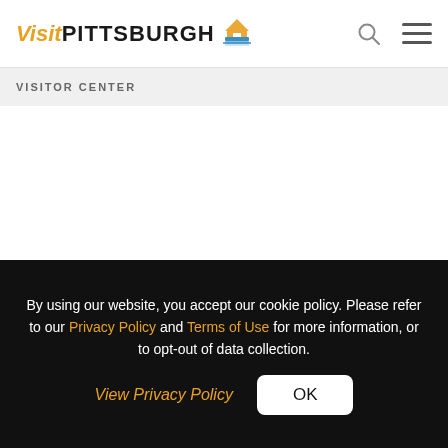Visit PITTSBURGH
VISITOR CENTER
By using our website, you accept our cookie policy. Please refer to our Privacy Policy and Terms of Use for more information, or to opt-out of data collection.
View Privacy Policy
OK